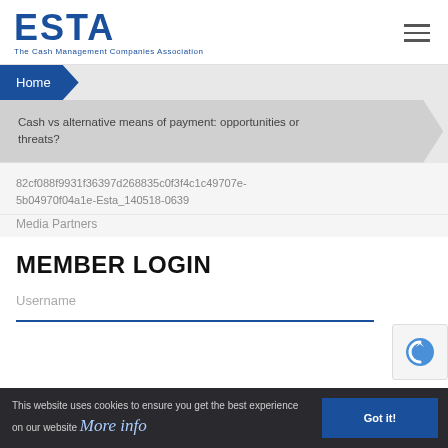ESTA The Cash Management Companies Association
Home
Cash vs alternative means of payment: opportunities or threats?
82cf088f9931f36397d268835c0f3f4c1c49707e-5b04970f04a1e-Esta_140518-0639
Media Partners
MEMBER LOGIN
Username
This website uses cookies to ensure you get the best experience on our website More info
Got it!